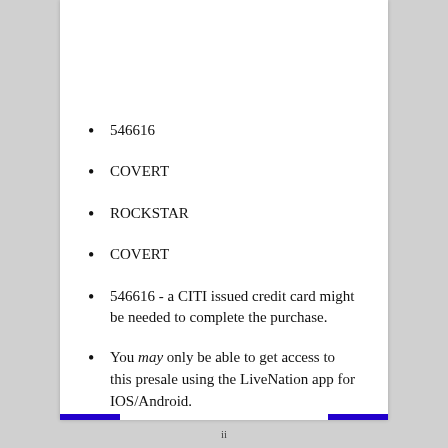546616
COVERT
ROCKSTAR
COVERT
546616 - a CITI issued credit card might be needed to complete the purchase.
You may only be able to get access to this presale using the LiveNation app for IOS/Android.